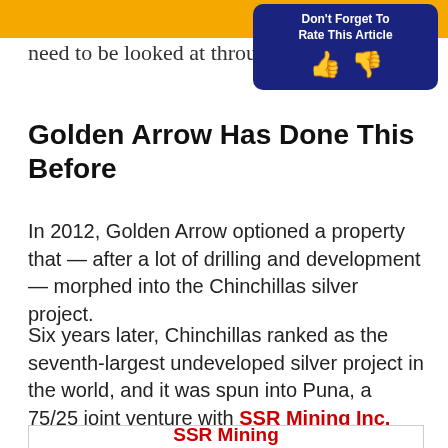Search Site | Don't Forget To Rate This Article
need to be looked at through a d
Golden Arrow Has Done This Before
In 2012, Golden Arrow optioned a property that — after a lot of drilling and development — morphed into the Chinchillas silver project.
Six years later, Chinchillas ranked as the seventh-largest undeveloped silver project in the world, and it was spun into Puna, a 75/25 joint venture with SSR Mining Inc.